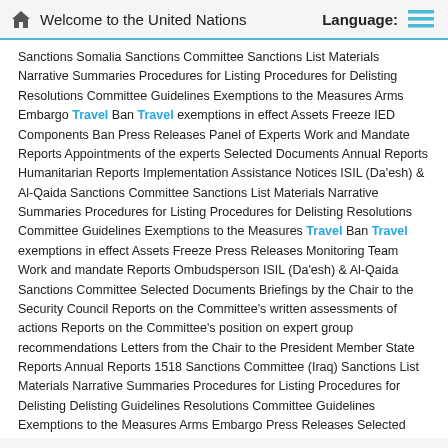Welcome to the United Nations  Language:
Sanctions Somalia Sanctions Committee Sanctions List Materials Narrative Summaries Procedures for Listing Procedures for Delisting Resolutions Committee Guidelines Exemptions to the Measures Arms Embargo Travel Ban Travel exemptions in effect Assets Freeze IED Components Ban Press Releases Panel of Experts Work and Mandate Reports Appointments of the experts Selected Documents Annual Reports Humanitarian Reports Implementation Assistance Notices ISIL (Da'esh) & Al-Qaida Sanctions Committee Sanctions List Materials Narrative Summaries Procedures for Listing Procedures for Delisting Resolutions Committee Guidelines Exemptions to the Measures Travel Ban Travel exemptions in effect Assets Freeze Press Releases Monitoring Team Work and mandate Reports Ombudsperson ISIL (Da'esh) & Al-Qaida Sanctions Committee Selected Documents Briefings by the Chair to the Security Council Reports on the Committee's written assessments of actions Reports on the Committee's position on expert group recommendations Letters from the Chair to the President Member State Reports Annual Reports 1518 Sanctions Committee (Iraq) Sanctions List Materials Narrative Summaries Procedures for Listing Procedures for Delisting Delisting Guidelines Resolutions Committee Guidelines Exemptions to the Measures Arms Embargo Press Releases Selected Documents Annual Reports The Democratic Republic of Congo Sanctions Committee Sanctions List Materials Narrative Summaries Procedures for Listing Procedures for Delisting Resolutions Committee Guidelines Exemptions to the Measures Arms Embargo Travel Ban Assets